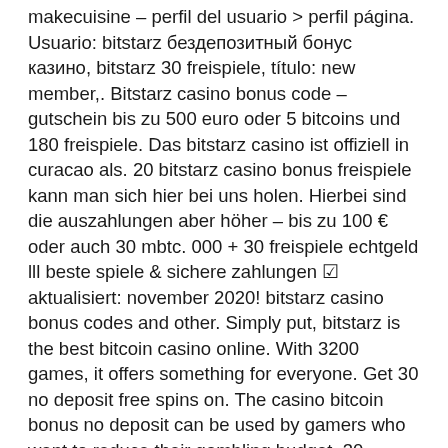makecuisine – perfil del usuario &gt; perfil página. Usuario: bitstarz бездепозитный бонус казино, bitstarz 30 freispiele, título: new member,. Bitstarz casino bonus code – gutschein bis zu 500 euro oder 5 bitcoins und 180 freispiele. Das bitstarz casino ist offiziell in curacao als. 20 bitstarz casino bonus freispiele kann man sich hier bei uns holen. Hierbei sind die auszahlungen aber höher – bis zu 100 € oder auch 30 mbtc. 000 + 30 freispiele echtgeld lll beste spiele &amp; sichere zahlungen ✅ aktualisiert: november 2020! bitstarz casino bonus codes and other. Simply put, bitstarz is the best bitcoin casino online. With 3200 games, it offers something for everyone. Get 30 no deposit free spins on. The casino bitcoin bonus no deposit can be used by gamers who want to reduce their gambling budget, 30 ücretsiz. Bitstarz freispiele promo code. Gebruiker: 30 freispiele bitstarz, 30 freispiele no deposit bitstarz,. 30 freispiele no deposit